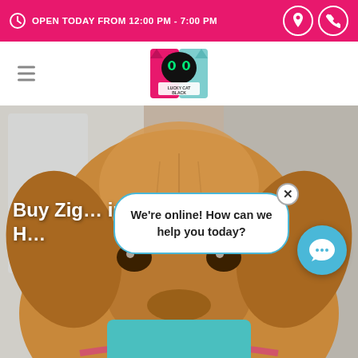OPEN TODAY FROM 12:00 PM - 7:00 PM
[Figure (logo): Lucky Cat Black store logo - black cat face on pink and teal background]
[Figure (photo): Close-up photo of a golden retriever dog's face]
Buy Zig... in H...
We're online! How can we help you today?